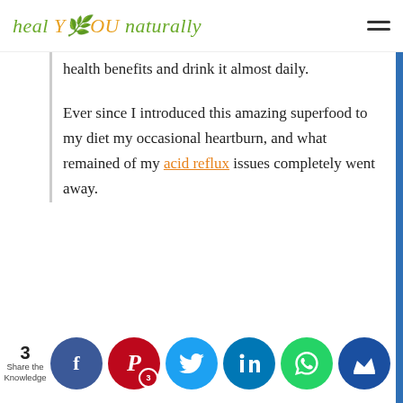heal YOU naturally
health benefits and drink it almost daily.
Ever since I introduced this amazing superfood to my diet my occasional heartburn, and what remained of my acid reflux issues completely went away.
3 Share the Knowledge | Facebook | Pinterest (3) | Twitter | LinkedIn | WhatsApp | Kingged